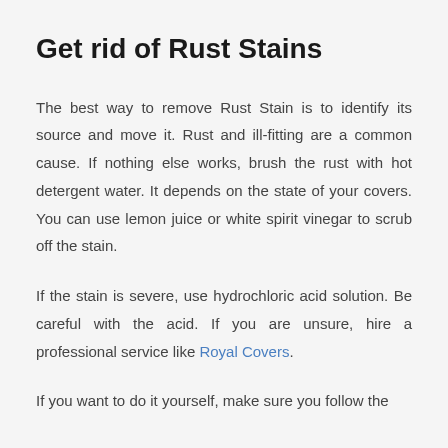Get rid of Rust Stains
The best way to remove Rust Stain is to identify its source and move it. Rust and ill-fitting are a common cause. If nothing else works, brush the rust with hot detergent water. It depends on the state of your covers. You can use lemon juice or white spirit vinegar to scrub off the stain.
If the stain is severe, use hydrochloric acid solution. Be careful with the acid. If you are unsure, hire a professional service like Royal Covers.
If you want to do it yourself, make sure you follow the